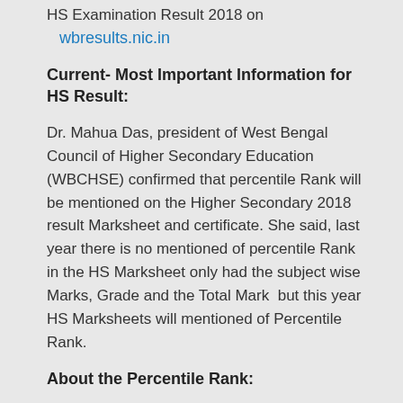HS Examination Result 2018 on
wbresults.nic.in
Current- Most Important Information for HS Result:
Dr. Mahua Das, president of West Bengal Council of Higher Secondary Education (WBCHSE) confirmed that percentile Rank will be mentioned on the Higher Secondary 2018 result Marksheet and certificate. She said, last year there is no mentioned of percentile Rank in the HS Marksheet only had the subject wise Marks, Grade and the Total Mark  but this year HS Marksheets will mentioned of Percentile Rank.
About the Percentile Rank:
Percentile Rank actually is a percentage of Marks which you obtained in your result sheet and